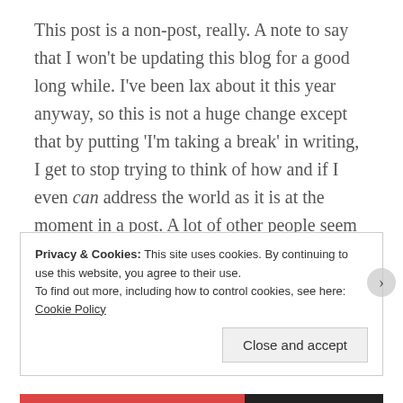This post is a non-post, really. A note to say that I won't be updating this blog for a good long while. I've been lax about it this year anyway, so this is not a huge change except that by putting 'I'm taking a break' in writing, I get to stop trying to think of how and if I even can address the world as it is at the moment in a post. A lot of other people seem to have that covered. Everything I want to say I'm not brave enough to post, or else needs more thought than my throwaway approach to this place allows. Maybe I'll do some
Privacy & Cookies: This site uses cookies. By continuing to use this website, you agree to their use.
To find out more, including how to control cookies, see here: Cookie Policy
Close and accept